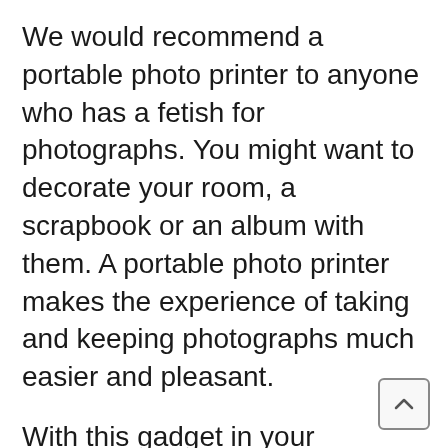We would recommend a portable photo printer to anyone who has a fetish for photographs. You might want to decorate your room, a scrapbook or an album with them. A portable photo printer makes the experience of taking and keeping photographs much easier and pleasant.
With this gadget in your possession, you can make the most out of parties and sleepovers, farewells and brunches. A wireless mobile printer is a must-have for anyone these days. Let us know which of these best portable photo printers you liked the most.